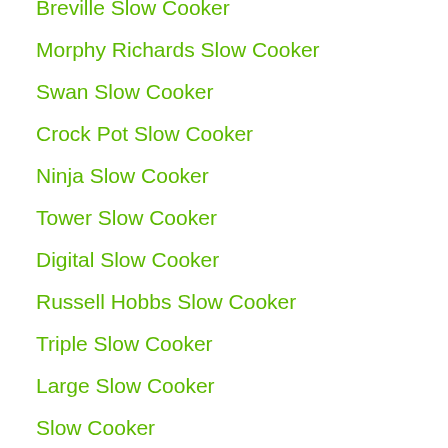Breville Slow Cooker
Morphy Richards Slow Cooker
Swan Slow Cooker
Crock Pot Slow Cooker
Ninja Slow Cooker
Tower Slow Cooker
Digital Slow Cooker
Russell Hobbs Slow Cooker
Triple Slow Cooker
Large Slow Cooker
Slow Cooker
Smart Watches
Fitbit
Fitbit Charge 4
Fitbit Versa 2